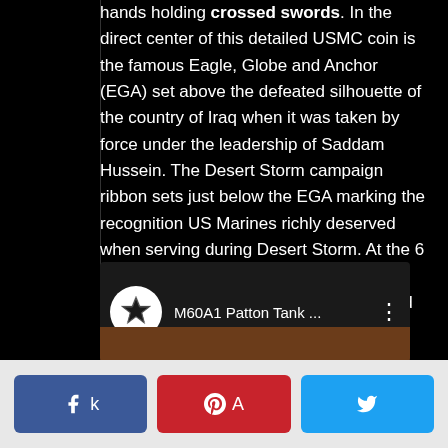hands holding crossed swords. In the direct center of this detailed USMC coin is the famous Eagle, Globe and Anchor (EGA) set above the defeated silhouette of the country of Iraq when it was taken by force under the leadership of Saddam Hussein. The Desert Storm campaign ribbon sets just below the EGA marking the recognition US Marines richly deserved when serving during Desert Storm. At the 6 o'clock position is the famous Devil Dog shirts logo connecting this original art and design with those coin collectors who will treasure it as part of their coin collection.
[Figure (screenshot): Video thumbnail for 'M60A1 Patton Tank ...' with a circular star logo icon on the left and a three-dot menu on the right, dark background with brown image at bottom]
[Figure (infographic): Social share buttons: Facebook (blue), Pinterest (red), Twitter (blue) arranged horizontally on a light grey footer bar]